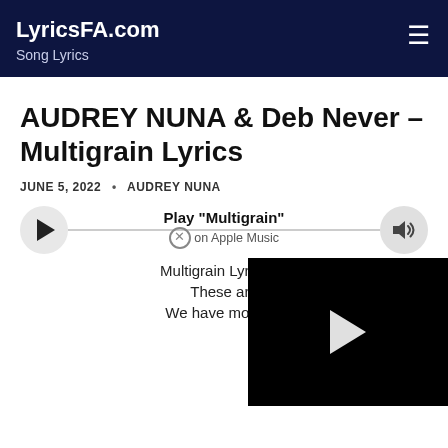LyricsFA.com — Song Lyrics
AUDREY NUNA & Deb Never – Multigrain Lyrics
JUNE 5, 2022 • AUDREY NUNA
[Figure (other): Audio player bar with play button, 'Play "Multigrain"' label, 'on Apple Music' subtitle with close icon, and volume button]
Multigrain Lyrics by
These are
We have more co
[Figure (screenshot): Black video player overlay with white play triangle button]